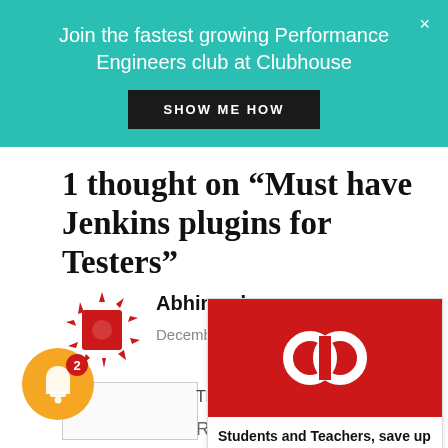[Figure (infographic): Teal banner with text 'Join the fastest growing Performance Engineers club at Clubhouse' and a black 'SHOW ME HOW' button, with an X close icon in the top right.]
1 thought on “Must have Jenkins plugins for Testers”
[Figure (photo): Avatar/profile image for Abhinav kumar - a red geometric flower/snowflake icon on white background with spiky border design]
Abhinav kumar
December 15, 2018 at 2:54 pm
[Figure (infographic): Adobe Creative Cloud advertisement card. Red background with Adobe CC logo (two linked circles). Text: 'Students and Teachers, save up to 60% on Adobe Creative Cloud.' Footer: 'ADS VIA CARBON']
[Figure (infographic): Orange circular notification bell icon with red badge showing number 2]
Reply